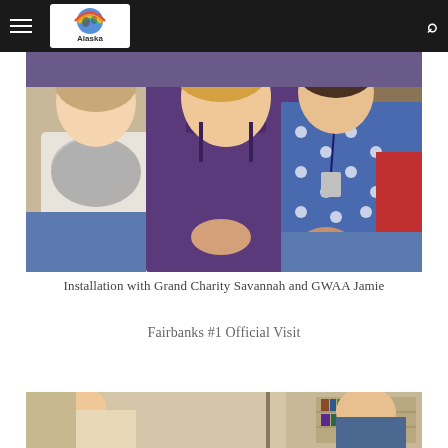Alaska (navigation header with logo and search)
[Figure (photo): Three women seated together at an installation ceremony. Left woman wearing white top with gray scarf, center woman in purple satin dress, right woman in blue polka dot dress with lanyard.]
Installation with Grand Charity Savannah and GWAA Jamie
Fairbanks #1 Official Visit
[Figure (photo): Partial view of people at Fairbanks #1 Official Visit, showing interior room setting.]